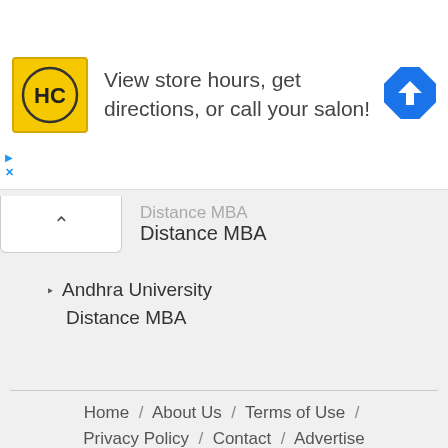[Figure (infographic): Advertisement banner: HC logo (yellow square with HC text) on left, text 'View store hours, get directions, or call your salon!' in center, blue diamond direction arrow icon on right. Has small play and X controls on far left.]
Distance MBA
Andhra University Distance MBA
Home / About Us / Terms of Use / Privacy Policy / Contact / Advertise